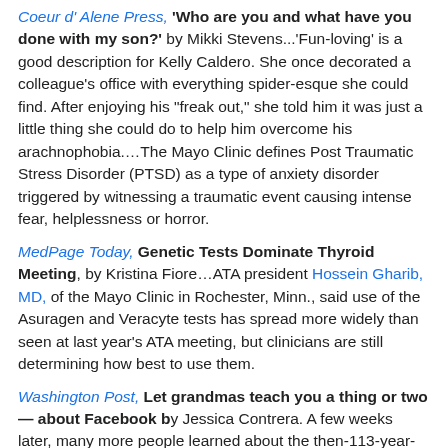Coeur d' Alene Press, 'Who are you and what have you done with my son?' by Mikki Stevens...'Fun-loving' is a good description for Kelly Caldero. She once decorated a colleague's office with everything spider-esque she could find. After enjoying his "freak out," she told him it was just a little thing she could do to help him overcome his arachnophobia....The Mayo Clinic defines Post Traumatic Stress Disorder (PTSD) as a type of anxiety disorder triggered by witnessing a traumatic event causing intense fear, helplessness or horror.
MedPage Today, Genetic Tests Dominate Thyroid Meeting, by Kristina Fiore...ATA president Hossein Gharib, MD, of the Mayo Clinic in Rochester, Minn., said use of the Asuragen and Veracyte tests has spread more widely than seen at last year's ATA meeting, but clinicians are still determining how best to use them.
Washington Post, Let grandmas teach you a thing or two — about Facebook by Jessica Contrera. A few weeks later, many more people learned about the then-113-year-old when a TV station in Plainview, Minn., aired a story about her that went viral. It said that the woman, Anna Stoehr, tried to sign up for a Facebook account on her iPad mini (the regular iPad was too heavy) — and she had to lie about her age because Facebook's upper age limit wouldn't recognize her birth year of 1900. (Anna is